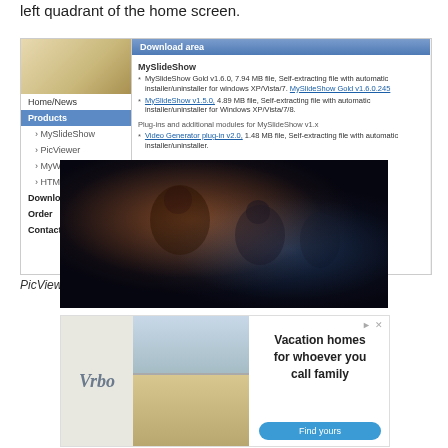left quadrant of the home screen.
[Figure (screenshot): Screenshot of a software website showing navigation sidebar with Home/News, Products (MySlideShow, PicViewer, MyWebGallery, HTML-View), Download, Order, Contact. Main content shows Download area with MySlideShow section listing download links for MySlideShow Gold v1.6.0 and MySlideShow v1.5.0, plus Video Generator plug-in v2.0.]
PicViewer
[Figure (photo): Anime-style illustration with dark fantasy characters including a female archer and other figures against a dramatic dark background with orange and blue lighting effects.]
[Figure (screenshot): Advertisement from Vrbo showing vacation homes with mountain backdrop. Text reads: Vacation homes for whoever you call family. Find yours button.]